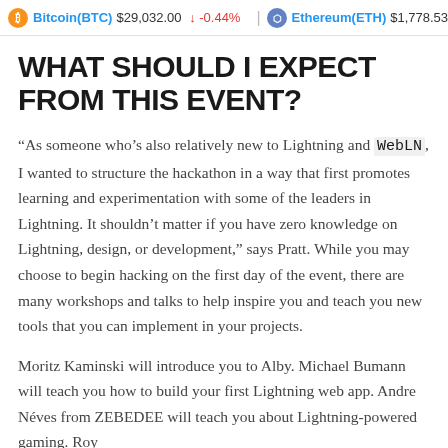Bitcoin(BTC) $29,032.00 ↓ -0.44%   Ethereum(ETH) $1,778.53
WHAT SHOULD I EXPECT FROM THIS EVENT?
“As someone who’s also relatively new to Lightning and WebLN, I wanted to structure the hackathon in a way that first promotes learning and experimentation with some of the leaders in Lightning. It shouldn’t matter if you have zero knowledge on Lightning, design, or development,” says Pratt. While you may choose to begin hacking on the first day of the event, there are many workshops and talks to help inspire you and teach you new tools that you can implement in your projects.
Moritz Kaminski will introduce you to Alby. Michael Bumann will teach you how to build your first Lightning web app. Andre Néves from ZEBEDEE will teach you about Lightning-powered gaming. Roy